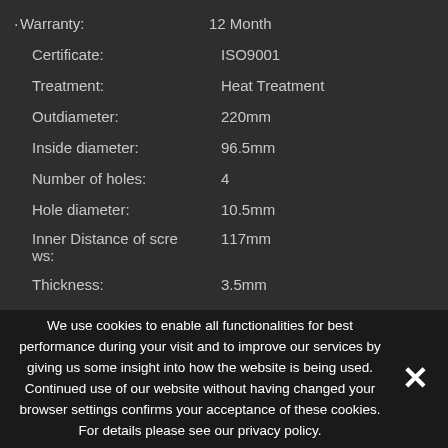Warranty: 12 Month
Certificate: ISO9001
Treatment: Heat Treatment
Outdiameter: 220mm
Inside diameter: 96.5mm
Number of holes: 4
Hole diameter: 10.5mm
Inner Distance of screws: 117mm
Thickness: 3.5mm
We use cookies to enable all functionalities for best performance during your visit and to improve our services by giving us some insight into how the website is being used. Continued use of our website without having changed your browser settings confirms your acceptance of these cookies. For details please see our privacy policy.